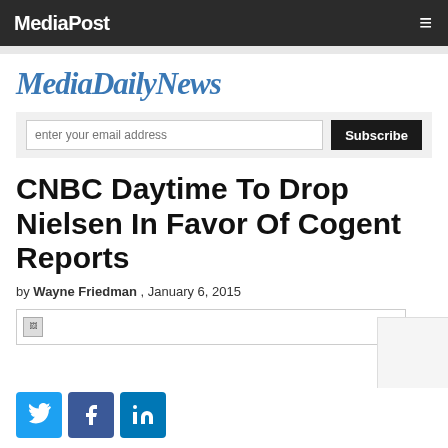MediaPost
MediaDailyNews
enter your email address [Subscribe button]
CNBC Daytime To Drop Nielsen In Favor Of Cogent Reports
by Wayne Friedman , January 6, 2015
[Figure (photo): Article image placeholder (broken image icon)]